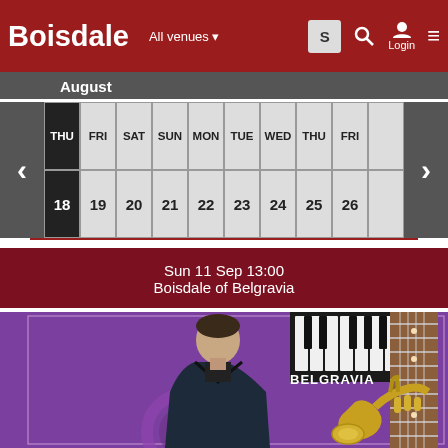BOISDALE | All venues ▾ | S | 🔍 | Login | ≡
August
| THU | FRI | SAT | SUN | MON | TUE | WED | THU | FRI |  |
| --- | --- | --- | --- | --- | --- | --- | --- | --- | --- |
| 18 | 19 | 20 | 21 | 22 | 23 | 24 | 25 | 26 |  |
Sun 11 Sep 13:00
Boisdale of Belgravia
[Figure (illustration): Promotional event poster with purple background showing a man in a black leather jacket standing in front of piano keys and a guitar neck. A trumpet appears in the lower right. Text 'BELGRAVIA' in top right.]